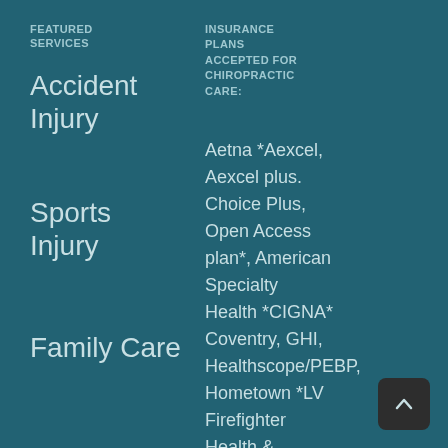FEATURED SERVICES
Accident Injury
Sports Injury
Family Care
INSURANCE PLANS ACCEPTED FOR CHIROPRACTIC CARE:
Aetna *Aexcel, Aexcel plus. Choice Plus, Open Access plan*, American Specialty Health *CIGNA* Coventry, GHI, Healthscope/PEBP, Hometown *LV Firefighter Health & Welfare Trust*, Landmark *Beechstreet, Multiplan*,